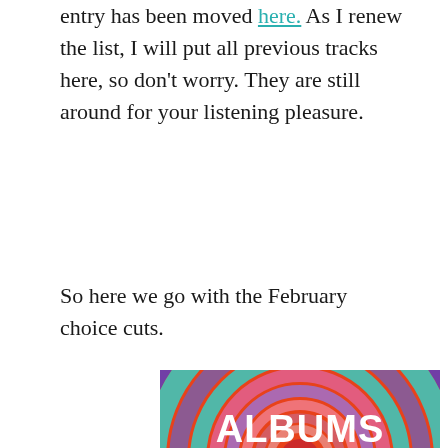entry has been moved here. As I renew the list, I will put all previous tracks here, so don't worry. They are still around for your listening pleasure.
So here we go with the February choice cuts.
[Figure (illustration): Colorful circular concentric rings on an orange-red background with white bold text reading 'ALBUMS OF THE MONTH']